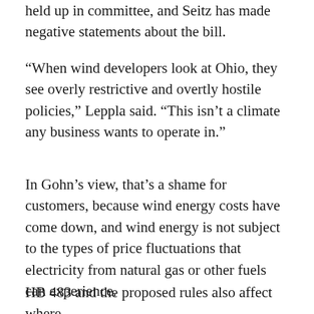held up in committee, and Seitz has made negative statements about the bill.
“When wind developers look at Ohio, they see overly restrictive and overtly hostile policies,” Leppla said. “This isn’t a climate any business wants to operate in.”
In Gohn’s view, that’s a shame for customers, because wind energy costs have come down, and wind energy is not subject to the types of price fluctuations that electricity from natural gas or other fuels can experience.
HB 483 and the proposed rules also affect where